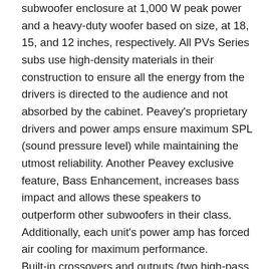subwoofer enclosure at 1,000 W peak power and a heavy-duty woofer based on size, at 18, 15, and 12 inches, respectively. All PVs Series subs use high-density materials in their construction to ensure all the energy from the drivers is directed to the audience and not absorbed by the cabinet. Peavey's proprietary drivers and power amps ensure maximum SPL (sound pressure level) while maintaining the utmost reliability. Another Peavey exclusive feature, Bass Enhancement, increases bass impact and allows these speakers to outperform other subwoofers in their class. Additionally, each unit's power amp has forced air cooling for maximum performance. Built-in crossovers and outputs (two high-pass outputs and one full-range thru XLR) ensure PVs Series Subwoofers can be used in nearly any application with a wide variety of speakers. A XLR/quarter-inch combo jack input also helps to ensure sound quality. All three units have DSP-based (digital signal processing) …